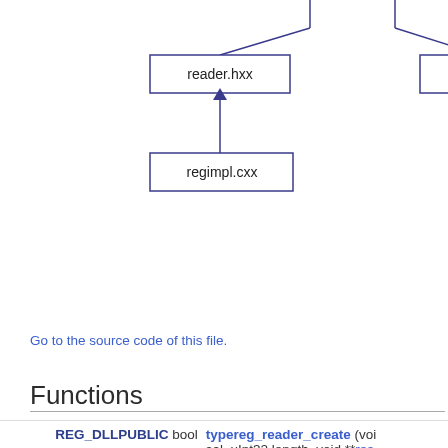[Figure (engineering-diagram): Dependency graph showing reader.hxx and reflread.cxx boxes connected by lines at top, with regimpl.cxx below connected to reader.hxx by an arrow pointing upward.]
Go to the source code of this file.
Functions
| Return type | Function |
| --- | --- |
| REG_DLLPUBLIC bool | typereg_reader_create (voi sal_uInt32 length, void **res Creates a type reader workin that represents a UNOIDL ty |
| REG_DLLPUBLIC void | typereg_reader_acquire (vo Increments the reference co More... |
| REG_DLLPUBLIC void | typereg_reader_release (vo Decrements the reference co |